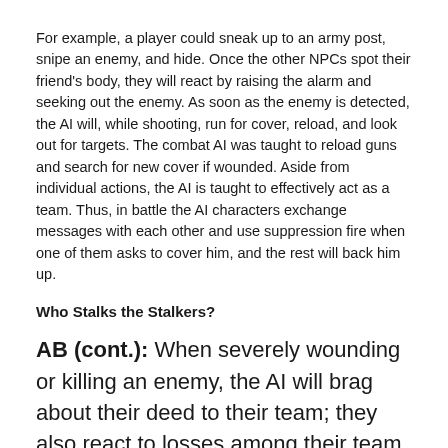For example, a player could sneak up to an army post, snipe an enemy, and hide. Once the other NPCs spot their friend's body, they will react by raising the alarm and seeking out the enemy. As soon as the enemy is detected, the AI will, while shooting, run for cover, reload, and look out for targets. The combat AI was taught to reload guns and search for new cover if wounded. Aside from individual actions, the AI is taught to effectively act as a team. Thus, in battle the AI characters exchange messages with each other and use suppression fire when one of them asks to cover him, and the rest will back him up.
Who Stalks the Stalkers?
AB (cont.): When severely wounding or killing an enemy, the AI will brag about their deed to their team; they also react to losses among their team, some might even panic. We taught the AI to react differently depending on whether it is fighting against one opponent, two, three, or more, so as to